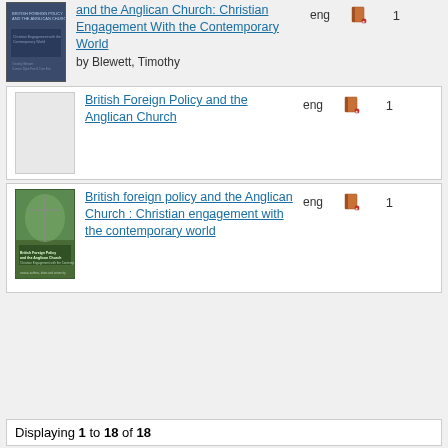British Foreign Policy and the Anglican Church: Christian Engagement With the Contemporary World by Blewett, Timothy — eng — 1
British Foreign Policy and the Anglican Church — eng — 1
British foreign policy and the Anglican Church : Christian engagement with the contemporary world — eng — 1
Displaying 1 to 18 of 18